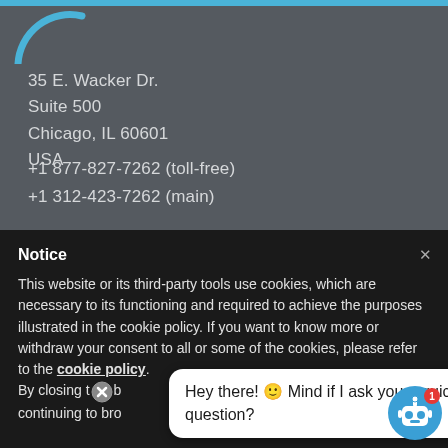[Figure (logo): Partial blue arc/circle logo in upper left corner]
35 E. Wacker Dr.
Suite 500
Chicago, IL 60601
USA
+1 877-827-7262 (toll-free)
+1 312-423-7262 (main)
Notice
This website or its third-party tools use cookies, which are necessary to its functioning and required to achieve the purposes illustrated in the cookie policy. If you want to know more or withdraw your consent to all or some of the cookies, please refer to the cookie policy.
By closing this banner, scrolling this page, clicking a link or continuing to browse otherwise, you agree to the use of cookies.
[Figure (illustration): Chatbot speech bubble saying 'Hey there! 🙂 Mind if I ask you a quick question?' with robot icon and red notification badge showing 1]